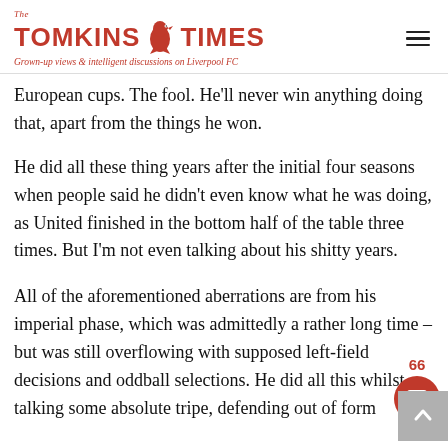The Tomkins Times — Grown-up views & intelligent discussions on Liverpool FC
European cups. The fool. He'll never win anything doing that, apart from the things he won.
He did all these thing years after the initial four seasons when people said he didn't even know what he was doing, as United finished in the bottom half of the table three times. But I'm not even talking about his shitty years.
All of the aforementioned aberrations are from his imperial phase, which was admittedly a rather long time – but was still overflowing with supposed left-field decisions and oddball selections. He did all this whilst talking some absolute tripe, defending out of form